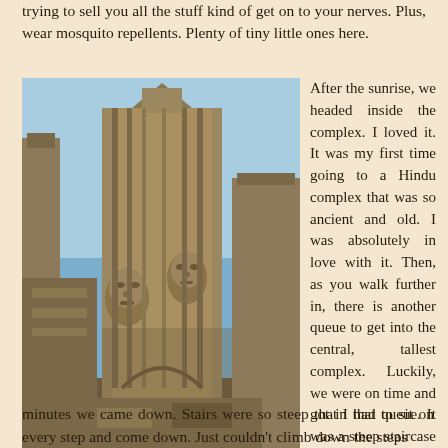trying to sell you all the stuff kind of get on to your nerves. Plus, wear mosquito repellents. Plenty of tiny little ones here.
[Figure (photo): Photograph of Bayon temple with large stone face carvings, blue sky in background]
Bayon temple
After the sunrise, we headed inside the complex. I loved it. It was my first time going to a Hindu complex that was so ancient and old. I was absolutely in love with it. Then, as you walk further in, there is another queue to get into the central, tallest complex. Luckily, we were on time and got in that queue. It was a steep staircase to get to the temple. This temple is layered vertically. This was the highest courtyard inside the temple. Good views and really high. After a few minutes we came down. Stairs were so steep that I had to sit on every step and come down. Just couldn't climb down the steps